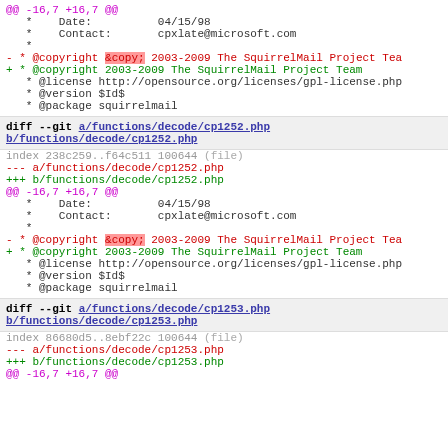@@ -16,7 +16,7 @@
 * Date: 04/15/98
 * Contact: cpxlate@microsoft.com
 *
- * @copyright &copy; 2003-2009 The SquirrelMail Project Tea
+ * @copyright 2003-2009 The SquirrelMail Project Team
 * @license http://opensource.org/licenses/gpl-license.php
 * @version $Id$
 * @package squirrelmail
diff --git a/functions/decode/cp1252.php b/functions/decode/cp1252.php
index 238c259..f64c511 100644 (file)
--- a/functions/decode/cp1252.php
+++ b/functions/decode/cp1252.php
@@ -16,7 +16,7 @@
 * Date: 04/15/98
 * Contact: cpxlate@microsoft.com
 *
- * @copyright &copy; 2003-2009 The SquirrelMail Project Tea
+ * @copyright 2003-2009 The SquirrelMail Project Team
 * @license http://opensource.org/licenses/gpl-license.php
 * @version $Id$
 * @package squirrelmail
diff --git a/functions/decode/cp1253.php b/functions/decode/cp1253.php
index 86680d5..8ebf22c 100644 (file)
--- a/functions/decode/cp1253.php
+++ b/functions/decode/cp1253.php
@@ -16,7 +16,7 @@